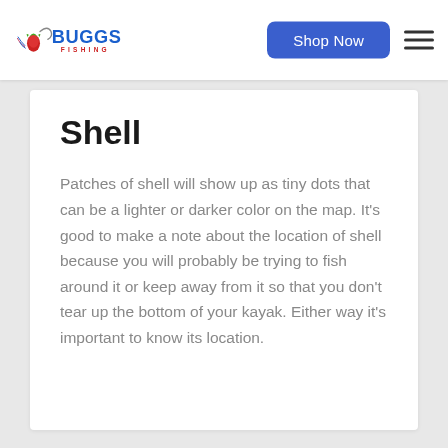Buggs Fishing — Shop Now navigation header
Shell
Patches of shell will show up as tiny dots that can be a lighter or darker color on the map. It's good to make a note about the location of shell because you will probably be trying to fish around it or keep away from it so that you don't tear up the bottom of your kayak. Either way it's important to know its location.